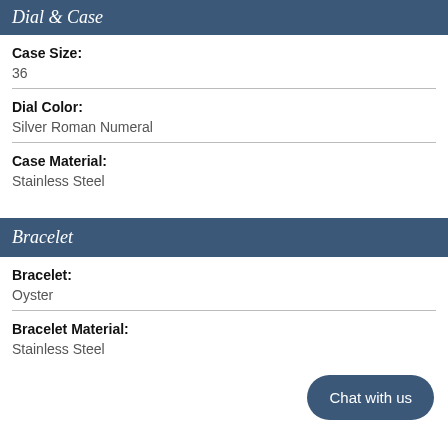Dial & Case
Case Size:
36
Dial Color:
Silver Roman Numeral
Case Material:
Stainless Steel
Bracelet
Bracelet:
Oyster
Bracelet Material:
Stainless Steel
Chat with us